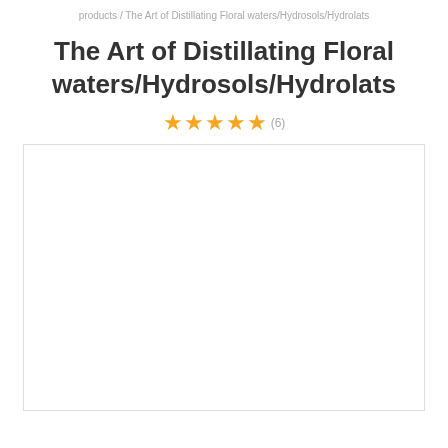products / The Art of Distillating Floral waters/Hydrosols/Hydrolats
The Art of Distillating Floral waters/Hydrosols/Hydrolats
★★★★★ (6)
[Figure (photo): Empty white image box with a light border, placeholder for product image]